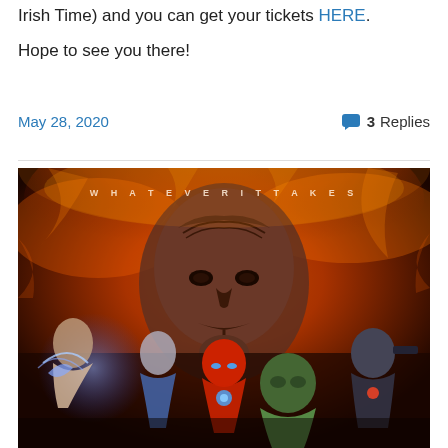Irish Time) and you can get your tickets HERE.
Hope to see you there!
May 28, 2020
3 Replies
[Figure (photo): Avengers: Endgame movie poster showing Thanos looming large in the background with text 'WHATEVER IT TAKES' across the top, and various Avengers heroes (Captain Marvel, Captain America, Iron Man, War Machine, Hulk) in battle poses in the foreground against a fiery orange and red background.]